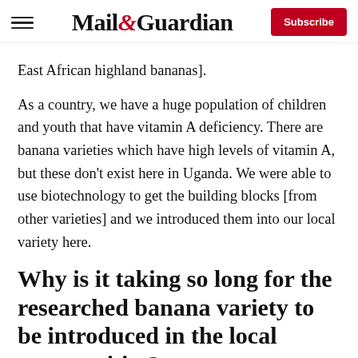Mail&Guardian | Subscribe
East African highland bananas].
As a country, we have a huge population of children and youth that have vitamin A deficiency. There are banana varieties which have high levels of vitamin A, but these don't exist here in Uganda. We were able to use biotechnology to get the building blocks [from other varieties] and we introduced them into our local variety here.
Why is it taking so long for the researched banana variety to be introduced in the local communities?